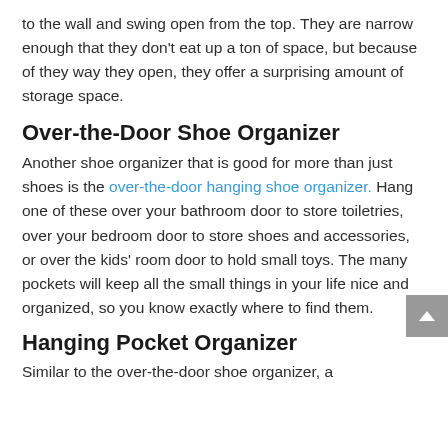to the wall and swing open from the top. They are narrow enough that they don't eat up a ton of space, but because of they way they open, they offer a surprising amount of storage space.
Over-the-Door Shoe Organizer
Another shoe organizer that is good for more than just shoes is the over-the-door hanging shoe organizer. Hang one of these over your bathroom door to store toiletries, over your bedroom door to store shoes and accessories, or over the kids' room door to hold small toys. The many pockets will keep all the small things in your life nice and organized, so you know exactly where to find them.
Hanging Pocket Organizer
Similar to the over-the-door shoe organizer, a